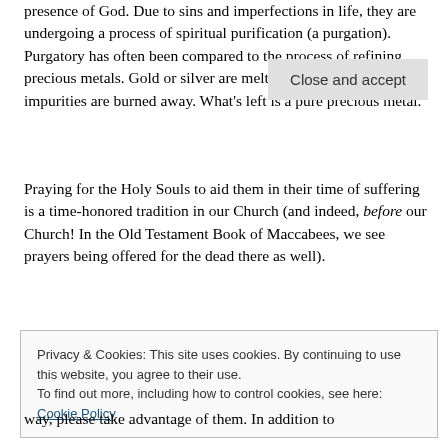presence of God.  Due to sins and imperfections in life, they are undergoing a process of spiritual purification (a purgation).  Purgatory has often been compared to the process of refining precious metals.  Gold or silver are melted in a furnace, and impurities are burned away.  What's left is a pure precious metal.
Praying for the Holy Souls to aid them in their time of suffering is a time-honored tradition in our Church (and indeed, before our Church!  In the Old Testament Book of Maccabees, we see prayers being offered for the dead there as well).
Privacy & Cookies: This site uses cookies. By continuing to use this website, you agree to their use.
To find out more, including how to control cookies, see here: Cookie Policy
Close and accept
way, please take advantage of them.  In addition to